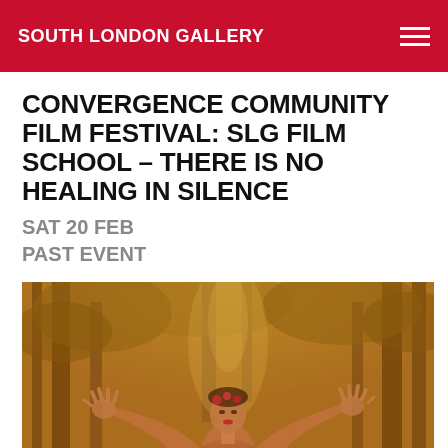SOUTH LONDON GALLERY
CONVERGENCE COMMUNITY FILM FESTIVAL: SLG FILM SCHOOL – THERE IS NO HEALING IN SILENCE
SAT 20 FEB
PAST EVENT
[Figure (photo): A person standing in a forest with arms raised upward, hands open, looking up. Warm golden-amber toned photograph with trees and foliage in the background. The figure has flowers in their hair and red lips.]